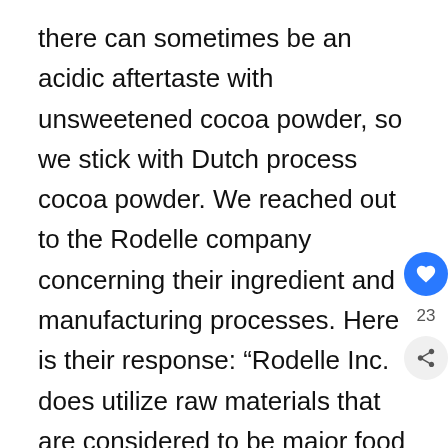there can sometimes be an acidic aftertaste with unsweetened cocoa powder, so we stick with Dutch process cocoa powder. We reached out to the Rodelle company concerning their ingredient and manufacturing processes. Here is their response: “Rodelle Inc. does utilize raw materials that are considered to be major food allergens recognized by the US Food and Drug Administration and Health Canada. These include: wheat, soy, milk, mustard, sesame, and sulfites These raw materials are not normally utilized in / on any equipment in common